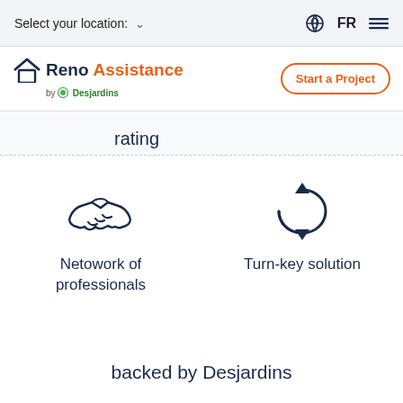Select your location:  FR
[Figure (logo): RenoAssistance by Desjardins logo with house icon in navy and orange text]
Start a Project
rating
[Figure (illustration): Handshake icon in navy outline style]
Netowork of professionals
[Figure (illustration): Circular arrows / refresh icon in navy outline style]
Turn-key solution
backed by Desjardins